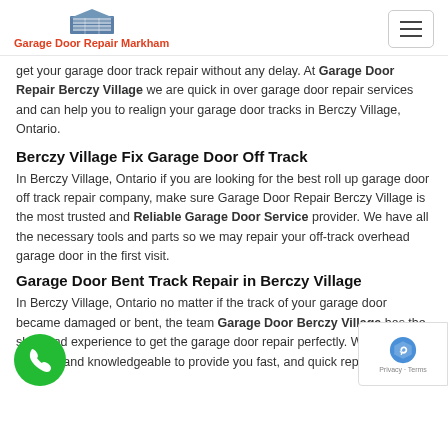Garage Door Repair Markham
get your garage door track repair without any delay. At Garage Door Repair Berczy Village we are quick in over garage door repair services and can help you to realign your garage door tracks in Berczy Village, Ontario.
Berczy Village Fix Garage Door Off Track
In Berczy Village, Ontario if you are looking for the best roll up garage door off track repair company, make sure Garage Door Repair Berczy Village is the most trusted and Reliable Garage Door Service provider. We have all the necessary tools and parts so we may repair your off-track overhead garage door in the first visit.
Garage Door Bent Track Repair in Berczy Village
In Berczy Village, Ontario no matter if the track of your garage door became damaged or bent, the team Garage Door Berczy Village has the skills and experience to get the garage door repair perfectly. We are certified and knowledgeable to provide you fast, and quick repair of your off